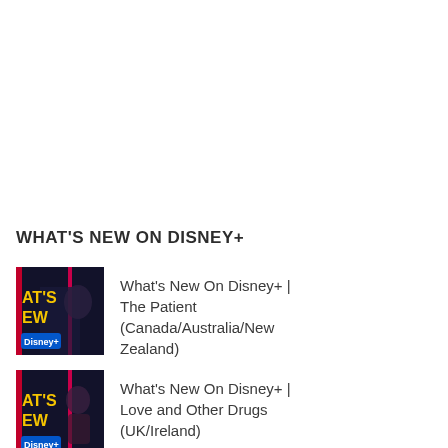WHAT'S NEW ON DISNEY+
[Figure (photo): Thumbnail image for 'What's New On Disney+' showing dark show art with 'AT'S NEW' text and Disney+ logo]
What's New On Disney+ | The Patient (Canada/Australia/New Zealand)
[Figure (photo): Thumbnail image for 'What's New On Disney+' showing dark show art with 'AT'S NEW' text and Disney+ logo, female subject]
What's New On Disney+ | Love and Other Drugs (UK/Ireland)